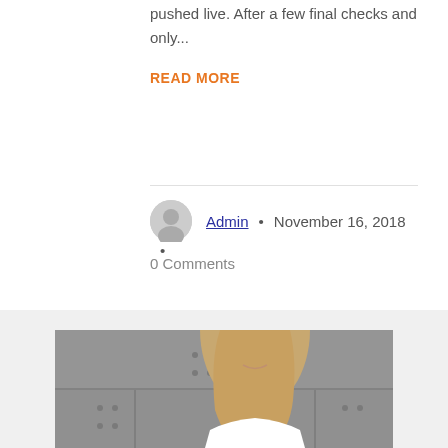pushed live. After a few final checks and only...
READ MORE
Admin • November 16, 2018 •
0 Comments
[Figure (photo): A smiling blonde woman in a white shirt looking down, photographed against a concrete wall background]